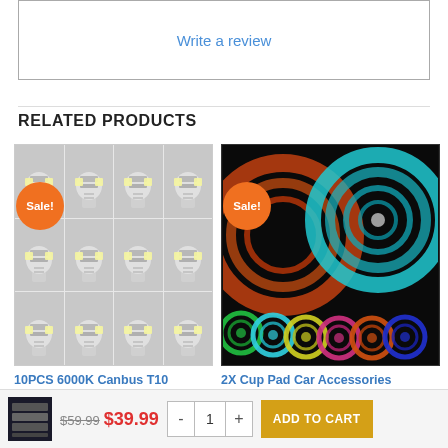Write a review
RELATED PRODUCTS
[Figure (photo): Grid of 12 white LED T10 Canbus bulbs arranged in 3 rows of 4, with orange Sale badge]
10PCS 6000K Canbus T10 194 194 W5W Dome License
[Figure (photo): 2X Cup Pad Car Accessories LED light coaster showing glowing rings in multiple colors on black background, with orange Sale badge]
2X Cup Pad Car Accessories LED Light Coaster Interior
$59.99  $39.99
ADD TO CART